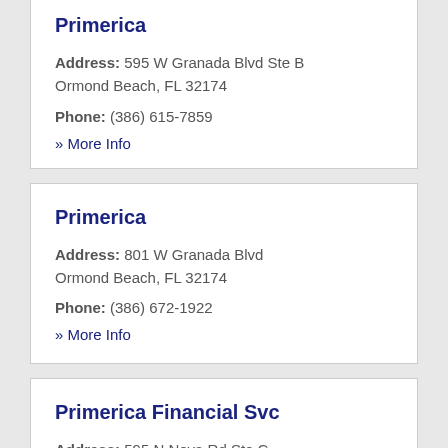Primerica
Address: 595 W Granada Blvd Ste B Ormond Beach, FL 32174
Phone: (386) 615-7859
» More Info
Primerica
Address: 801 W Granada Blvd Ormond Beach, FL 32174
Phone: (386) 672-1922
» More Info
Primerica Financial Svc
Address: 595 N Nova Rd Ste C